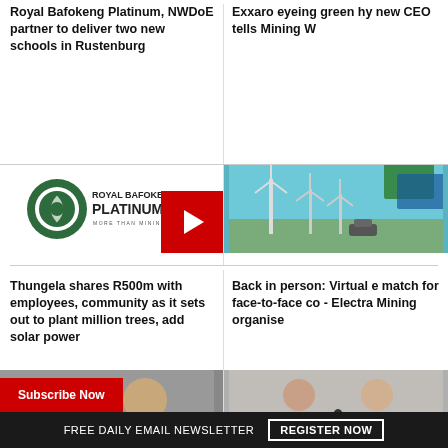Royal Bafokeng Platinum, NWDoE partner to deliver two new schools in Rustenburg
Exxaro eyeing green hy new CEO tells Mining W
[Figure (logo): Royal Bafokeng Platinum logo with play button overlay]
[Figure (photo): Wind turbines and green energy imagery]
Thungela shares R500m with employees, community as it sets out to plant million trees, add solar power
Back in person: Virtual e match for face-to-face co - Electra Mining organise
[Figure (photo): Person photo with Subscribe Now button overlay]
[Figure (photo): Two people in interview setting]
FREE DAILY EMAIL NEWSLETTER   REGISTER NOW